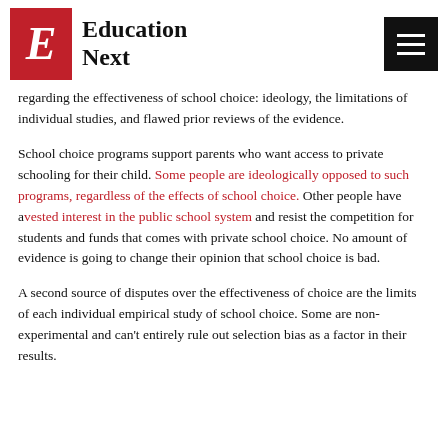Education Next
regarding the effectiveness of school choice: ideology, the limitations of individual studies, and flawed prior reviews of the evidence.
School choice programs support parents who want access to private schooling for their child. Some people are ideologically opposed to such programs, regardless of the effects of school choice. Other people have a vested interest in the public school system and resist the competition for students and funds that comes with private school choice. No amount of evidence is going to change their opinion that school choice is bad.
A second source of disputes over the effectiveness of choice are the limits of each individual empirical study of school choice. Some are non-experimental and can't entirely rule out selection bias as a factor in their results.